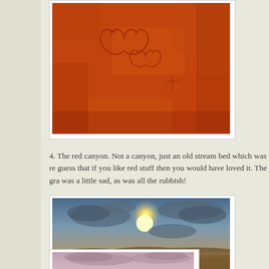[Figure (photo): Close-up of red sandstone/clay surface with carvings or engravings including heart shapes and other marks scratched into the red rock surface.]
4. The red canyon. Not a canyon, just an old stream bed which was re guess that if you like red stuff then you would have loved it. The gra was a little sad, as was all the rubbish!
[Figure (photo): Desert landscape with a dirt road leading into the distance under a dramatic sky with the sun breaking through clouds, golden sandy terrain on either side.]
[Figure (photo): Sky with pink and purple clouds at dusk or dawn, partially visible at bottom of page.]